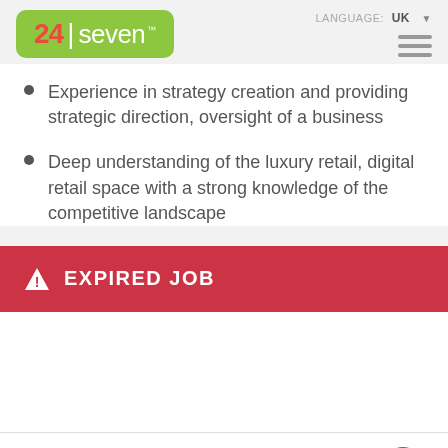24seven — LANGUAGE: UK
Experience in strategy creation and providing strategic direction, oversight of a business
Deep understanding of the luxury retail, digital retail space with a strong knowledge of the competitive landscape
⚠ EXPIRED JOB
SHARE THIS JOB